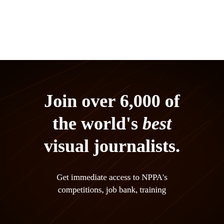[Figure (photo): Dark brown textured background with diagonal light streaks, resembling scratched or illuminated surfaces, covering the lower two-thirds of the page. Top portion is white.]
Join over 6,000 of the world's best visual journalists.
Get immediate access to NPPA's competitions, job bank, training